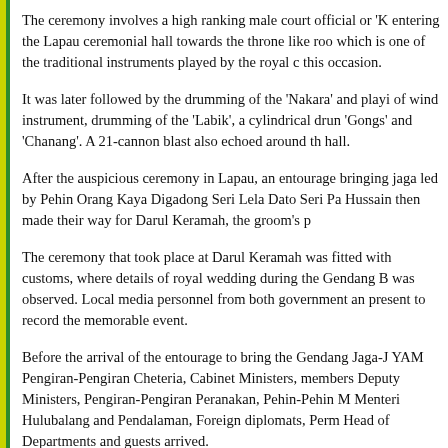The ceremony involves a high ranking male court official or 'K entering the Lapau ceremonial hall towards the throne like roo which is one of the traditional instruments played by the royal this occasion.
It was later followed by the drumming of the 'Nakara' and playi of wind instrument, drumming of the 'Labik', a cylindrical dru 'Gongs' and 'Chanang'. A 21-cannon blast also echoed around t hall.
After the auspicious ceremony in Lapau, an entourage bringing jaga led by Pehin Orang Kaya Digadong Seri Lela Dato Seri Pa Hussain then made their way for Darul Keramah, the groom's p
The ceremony that took place at Darul Keramah was fitted wit customs, where details of royal wedding during the Gendang B was observed. Local media personnel from both government ar present to record the memorable event.
Before the arrival of the entourage to bring the Gendang Jaga-J YAM Pengiran-Pengiran Cheteria, Cabinet Ministers, members Deputy Ministers, Pengiran-Pengiran Peranakan, Pehin-Pehin M Menteri Hulubalang and Pendalaman, Foreign diplomats, Perm Head of Departments and guests arrived.